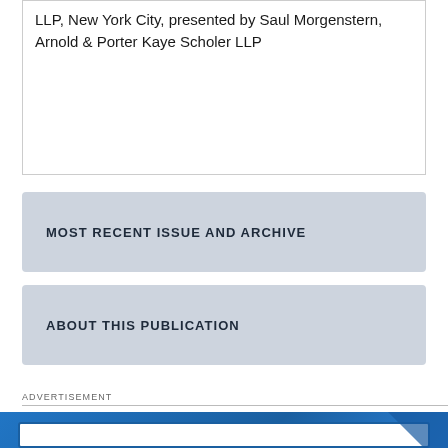LLP, New York City, presented by Saul Morgenstern, Arnold & Porter Kaye Scholer LLP
MOST RECENT ISSUE AND ARCHIVE
ABOUT THIS PUBLICATION
ADVERTISEMENT
[Figure (other): LawPay advertisement banner with blue gradient background and white inner box containing the LawPay logo]